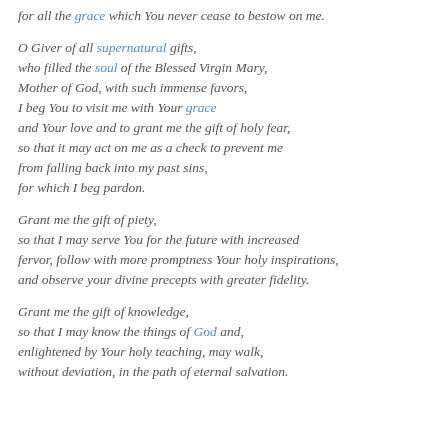for all the grace which You never cease to bestow on me.
O Giver of all supernatural gifts,
who filled the soul of the Blessed Virgin Mary,
Mother of God, with such immense favors,
I beg You to visit me with Your grace
and Your love and to grant me the gift of holy fear,
so that it may act on me as a check to prevent me
from falling back into my past sins,
for which I beg pardon.
Grant me the gift of piety,
so that I may serve You for the future with increased
fervor, follow with more promptness Your holy inspirations,
and observe your divine precepts with greater fidelity.
Grant me the gift of knowledge,
so that I may know the things of God and,
enlightened by Your holy teaching, may walk,
without deviation, in the path of eternal salvation.